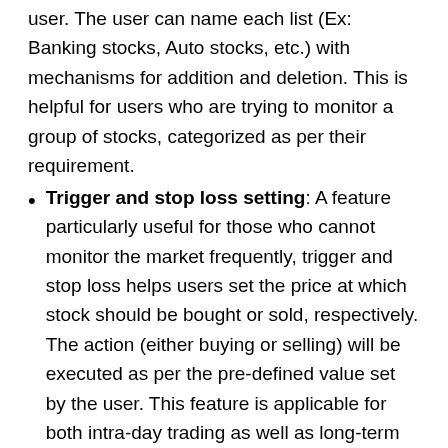user. The user can name each list (Ex: Banking stocks, Auto stocks, etc.) with mechanisms for addition and deletion. This is helpful for users who are trying to monitor a group of stocks, categorized as per their requirement.
Trigger and stop loss setting: A feature particularly useful for those who cannot monitor the market frequently, trigger and stop loss helps users set the price at which stock should be bought or sold, respectively. The action (either buying or selling) will be executed as per the pre-defined value set by the user. This feature is applicable for both intra-day trading as well as long-term trading.
Fingerprint access (for the mobile app): An